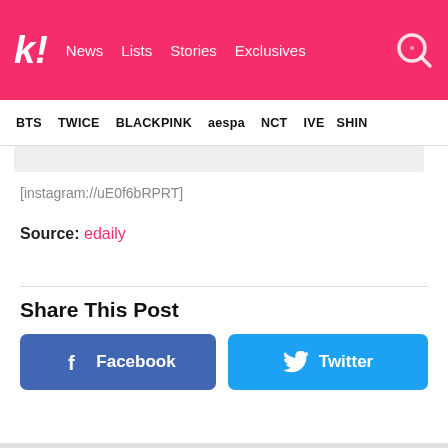k! News  Lists  Stories  Exclusives
BTS  TWICE  BLACKPINK  aespa  NCT  IVE  SHINee
[instagram://uE0f6bRPRT]
Source: edaily
Share This Post
Facebook
Twitter